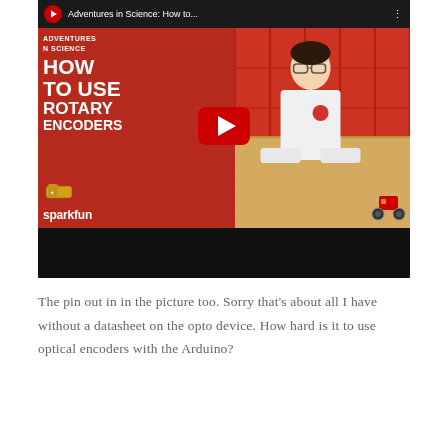[Figure (screenshot): YouTube video thumbnail for 'Adventures in Science: How to Use Rotary Encoders' by SparkFun, showing a man in a white lab coat leaning over a desk with a small wheeled robot, against a red background with the video title text. A large red YouTube play button is visible in the center.]
The pin out in in the picture too. Sorry that's about all I have without a datasheet on the opto device. How hard is it to use optical encoders with the Arduino?